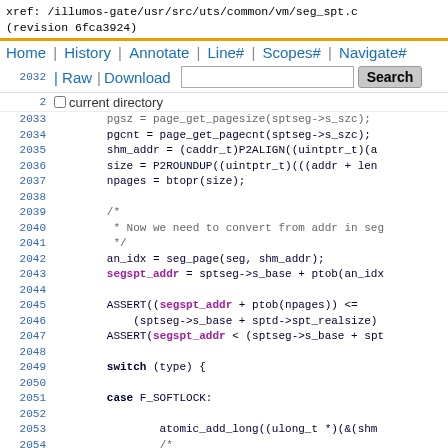xref: /illumos-gate/usr/src/uts/common/vm/seg_spt.c
(revision 6fca3924)
Home | History | Annotate | Line# | Scopes# | Navigate#
2032 | Raw | Download  [search box] Search  [] current directory
2032    pgsz = page_get_pagesize(sptseg->s_szc);
2033    pgcnt = page_get_pagecnt(sptseg->s_szc);
2034    shm_addr = (caddr_t)P2ALIGN((uintptr_t)(a
2035    size = P2ROUNDUP((uintptr_t)(((addr + len
2036    npages = btopr(size);
2037
2038    /*
2039     * Now we need to convert from addr in seg
2040     */
2041    an_idx = seg_page(seg, shm_addr);
2042    segspt_addr = sptseg->s_base + ptob(an_idx
2043
2044    ASSERT((segspt_addr + ptob(npages)) <=
2045        (sptseg->s_base + sptd->spt_realsize)
2046    ASSERT(segspt_addr < (sptseg->s_base + spt
2047
2048    switch (type) {
2049
2050    case F_SOFTLOCK:
2051
2052        atomic_add_long((ulong_t *)(&(shm
2053        /*
2054         * Fall through to the F_INVAL cas
2055         * entries with the HAT_LOAD_LOCK